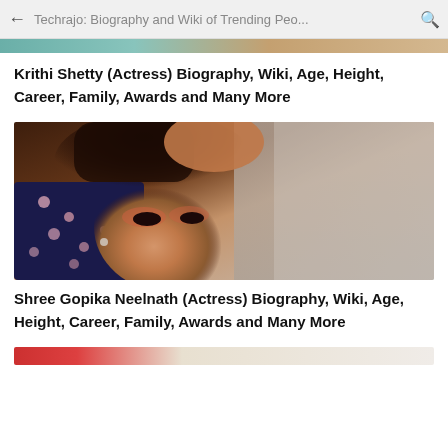Techrajo: Biography and Wiki of Trending Peo...
[Figure (photo): Partial top strip of a photo, likely Krithi Shetty]
Krithi Shetty (Actress) Biography, Wiki, Age, Height, Career, Family, Awards and Many More
[Figure (photo): Photo of Shree Gopika Neelnath, an actress posing with hand raised near head, wearing floral dark jacket, against a textured wall background]
Shree Gopika Neelnath (Actress) Biography, Wiki, Age, Height, Career, Family, Awards and Many More
[Figure (photo): Partial bottom strip of another photo, cropped at page bottom]